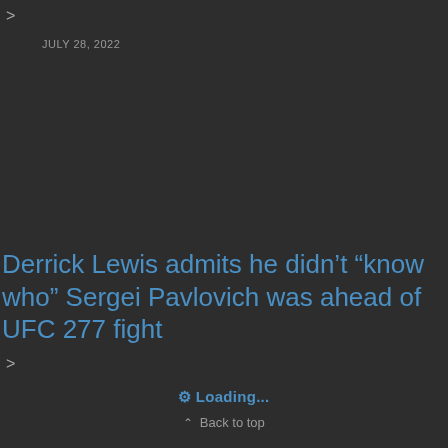>
JULY 28, 2022
Derrick Lewis admits he didn't “know who” Sergei Pavlovich was ahead of UFC 277 fight
>
⚙ Loading...
⌃ Back to top